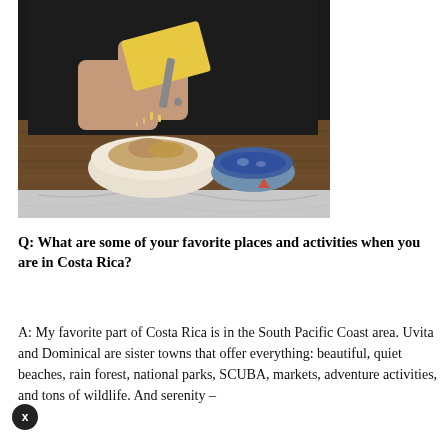[Figure (photo): A person in dark clothing grating cheese over a bowl of food on a wooden cutting board. A blue and white bowl is visible to the right. The background shows a marble surface.]
Q: What are some of your favorite places and activities when you are in Costa Rica?
A: My favorite part of Costa Rica is in the South Pacific Coast area. Uvita and Dominical are sister towns that offer everything: beautiful, quiet beaches, rain forest, national parks, SCUBA, markets, adventure activities, and tons of wildlife. And serenity –